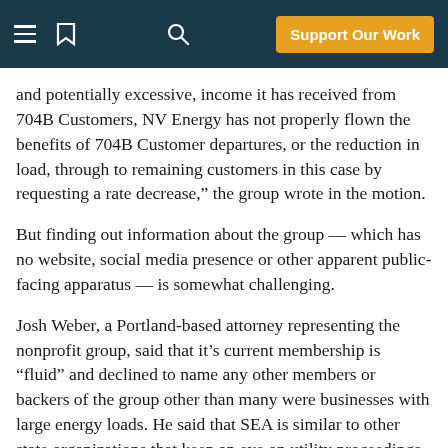Navigation bar with menu, chat icon, search icon, and Support Our Work button
and potentially excessive, income it has received from 704B Customers, NV Energy has not properly flown the benefits of 704B Customer departures, or the reduction in load, through to remaining customers in this case by requesting a rate decrease," the group wrote in the motion.
But finding out information about the group — which has no website, social media presence or other apparent public-facing apparatus — is somewhat challenging.
Josh Weber, a Portland-based attorney representing the nonprofit group, said that it's current membership is "fluid" and declined to name any other members or backers of the group other than many were businesses with large energy loads. He said that SEA is similar to other state organizations that keep an eye on utility proceedings, and planned to stay involved in future cases before the PUC.